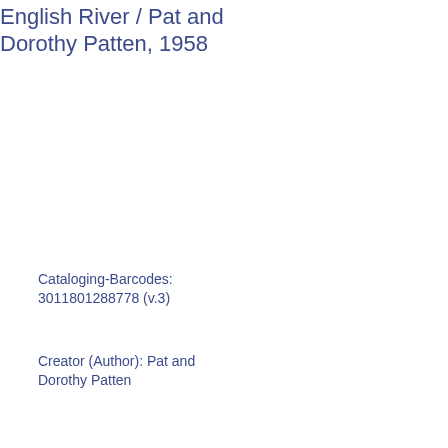English River / Pat and Dorothy Patten, 1958
Cataloging-Barcodes: 3011801288778 (v.3)
Creator (Author): Pat and Dorothy Patten
Creators: Draper, Dorothy (Class of 1914)
Item 580: Adventures in the Wilderness